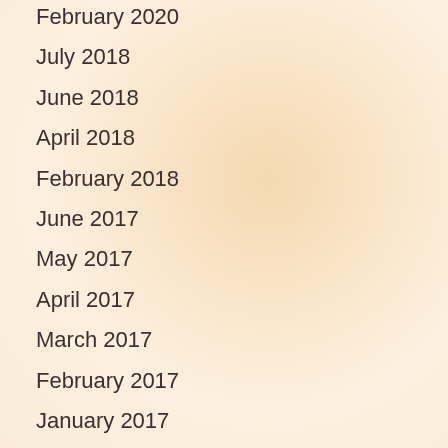February 2020
July 2018
June 2018
April 2018
February 2018
June 2017
May 2017
April 2017
March 2017
February 2017
January 2017
December 2016